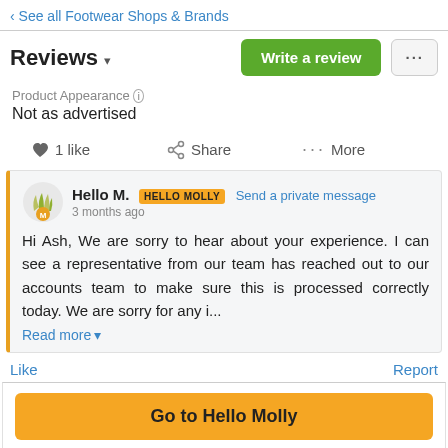‹ See all Footwear Shops & Brands
Reviews ▾
Product Appearance (i)
Not as advertised
♥ 1 like   ⑂ Share   ••• More
Hello M.  HELLO MOLLY  Send a private message
3 months ago
Hi Ash, We are sorry to hear about your experience. I can see a representative from our team has reached out to our accounts team to make sure this is processed correctly today. We are sorry for any i...
Read more ▾
Like   Report
Go to Hello Molly
The employees still be a position from our for 112M and...